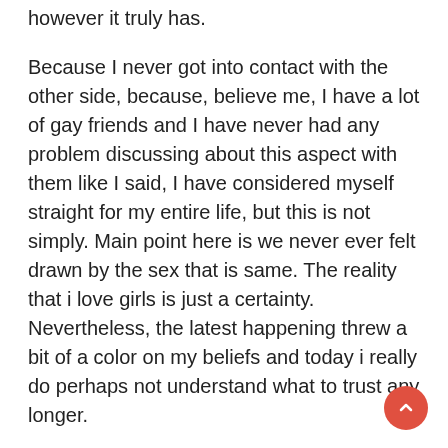however it truly has.
Because I never got into contact with the other side, because, believe me, I have a lot of gay friends and I have never had any problem discussing about this aspect with them like I said, I have considered myself straight for my entire life, but this is not simply. Main point here is we never ever felt drawn by the sex that is same. The reality that i love girls is just a certainty. Nevertheless, the latest happening threw a bit of a color on my beliefs and today i really do perhaps not understand what to trust any longer.
I have a lot of gay friends like I said. We donвЂ™t understand how this took place, however it is the means it really is. We am a tremendously social guy that is friendly i prefer spending quality time with my buddies whenever you can. This implies since I get to travel a lot that I constantly meet new and interesting people. This is one way we came across Steven, a homosexual man, incredibly friendly and available, with who